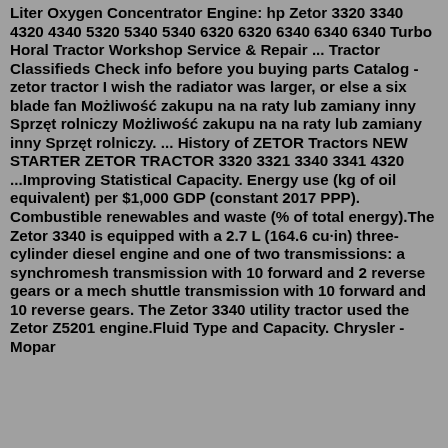Liter Oxygen Concentrator Engine: hp Zetor 3320 3340 4320 4340 5320 5340 5340 6320 6320 6340 6340 6340 Turbo Horal Tractor Workshop Service & Repair ... Tractor Classifieds Check info before you buying parts Catalog - zetor tractor I wish the radiator was larger, or else a six blade fan Możliwość zakupu na na raty lub zamiany inny Sprzęt rolniczy Możliwość zakupu na na raty lub zamiany inny Sprzęt rolniczy. ... History of ZETOR Tractors NEW STARTER ZETOR TRACTOR 3320 3321 3340 3341 4320 ...Improving Statistical Capacity. Energy use (kg of oil equivalent) per $1,000 GDP (constant 2017 PPP). Combustible renewables and waste (% of total energy).The Zetor 3340 is equipped with a 2.7 L (164.6 cu·in) three-cylinder diesel engine and one of two transmissions: a synchromesh transmission with 10 forward and 2 reverse gears or a mech shuttle transmission with 10 forward and 10 reverse gears. The Zetor 3340 utility tractor used the Zetor Z5201 engine.Fluid Type and Capacity. Chrysler - Mopar